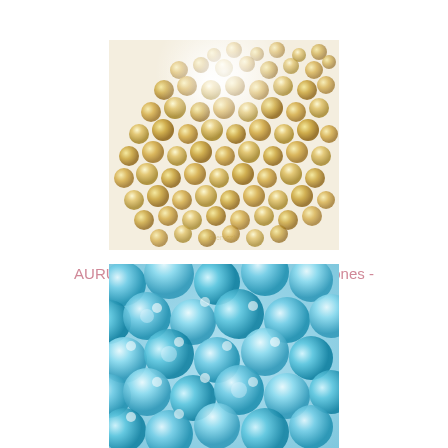[Figure (photo): Close-up photo of gold/champagne Aurum Preciosa hot fix flat back rhinestones scattered on a white/cream background]
AURUM - HOT FIX - Flat Back Rhinestones - Preciosa
[Figure (photo): Close-up macro photo of aquamarine/light blue Preciosa hot fix flat back rhinestones]